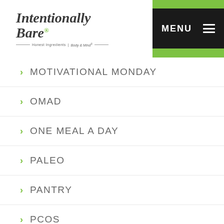[Figure (logo): Intentionally Bare logo with green leaf, tagline 'Honest Ingredients | Body & Mind']
MENU
MOTIVATIONAL MONDAY
OMAD
ONE MEAL A DAY
PALEO
PANTRY
PCOS
PEPTIDES
POTASSIUM
PROTEIN
RECIPES
SUMMER
SWEETENERS